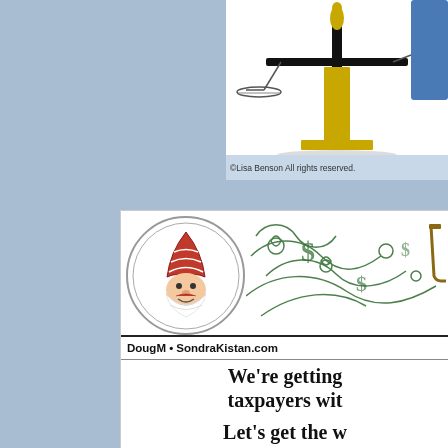[Figure (illustration): Top portion of scales/balance illustration on white background, partially cropped]
©Lisa Benson  All rights reserved.
[Figure (illustration): Cartoon panel with gnome/elf mascot in circle, green decorative design, attribution 'DougM • SondraKistan.com', quote text about taxpayers, and building illustration at bottom]
We're getting taxpayers wit
Let's get the w taxpayers a dim money out of th